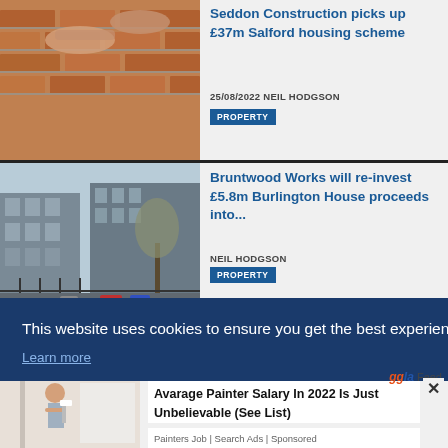[Figure (photo): Hands laying bricks with mortar on a construction site]
Seddon Construction picks up £37m Salford housing scheme
25/08/2022 NEIL HODGSON
PROPERTY
[Figure (photo): Modern office building exterior with bare trees and parked cars]
Bruntwood Works will re-invest £5.8m Burlington House proceeds into...
NEIL HODGSON
PROPERTY
This website uses cookies to ensure you get the best experience on our website.
Learn more
ggla Feed
[Figure (photo): Person painting a wall white indoors]
Avarage Painter Salary In 2022 Is Just Unbelievable (See List)
Painters Job | Search Ads | Sponsored